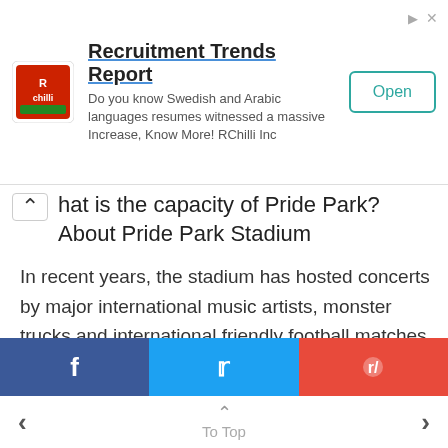[Figure (screenshot): RChilli advertisement banner with logo, 'Recruitment Trends Report' title, descriptive text, and Open button]
What is the capacity of Pride Park? About Pride Park Stadium
In recent years, the stadium has hosted concerts by major international music artists, monster trucks and international friendly football matches and boasts a capacity of 33,597 seats.
[Figure (screenshot): Social share buttons: Facebook, Twitter, Reddit]
To Top